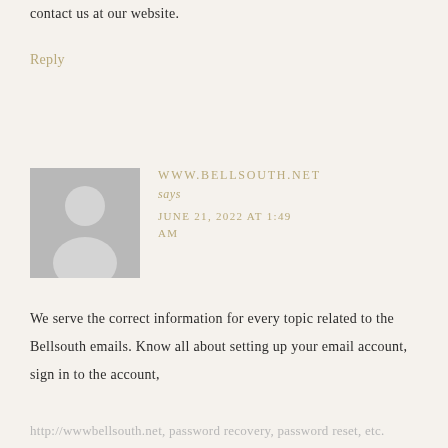contact us at our website.
Reply
[Figure (illustration): Grey placeholder avatar image showing a silhouette of a person]
WWW.BELLSOUTH.NET says JUNE 21, 2022 AT 1:49 AM
We serve the correct information for every topic related to the Bellsouth emails. Know all about setting up your email account, sign in to the account,
http://wwwbellsouth.net, password recovery, password reset, etc.